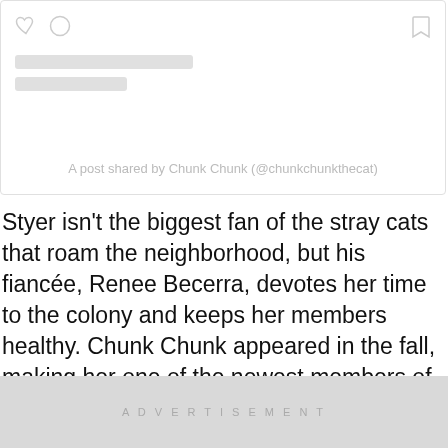[Figure (screenshot): Embedded social media post card with heart and comment icons, bookmark icon, placeholder grey bars for username/text, and caption 'A post shared by Chunk Chunk (@chunkchunkthecat)']
A post shared by Chunk Chunk (@chunkchunkthecat)
Styer isn't the biggest fan of the stray cats that roam the neighborhood, but his fiancée, Renee Becerra, devotes her time to the colony and keeps her members healthy. Chunk Chunk appeared in the fall, making her one of the newest members of the colony, and she didn't seem prepared for the weather.
ADVERTISEMENT